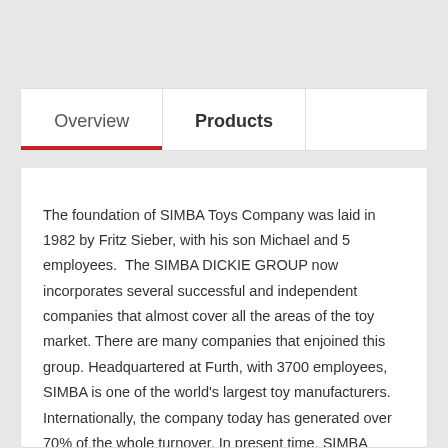Overview
Products
The foundation of SIMBA Toys Company was laid in 1982 by Fritz Sieber, with his son Michael and 5 employees.  The SIMBA DICKIE GROUP now incorporates several successful and independent companies that almost cover all the areas of the toy market. There are many companies that enjoined this group. Headquartered at Furth, with 3700 employees, SIMBA is one of the world's largest toy manufacturers. Internationally, the company today has generated over 70% of the whole turnover. In present time, SIMBA DICKIE GROUP has its subsidiaries in 22 countries all